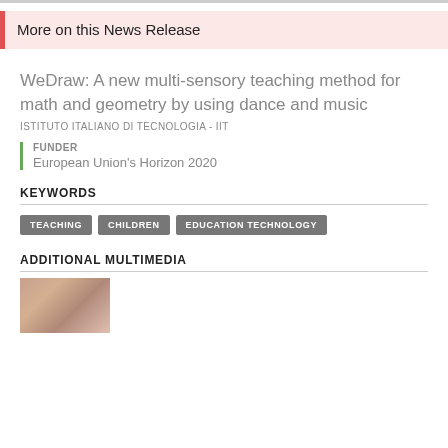More on this News Release
WeDraw: A new multi-sensory teaching method for math and geometry by using dance and music
ISTITUTO ITALIANO DI TECNOLOGIA - IIT
FUNDER
European Union's Horizon 2020
KEYWORDS
TEACHING
CHILDREN
EDUCATION TECHNOLOGY
ADDITIONAL MULTIMEDIA
[Figure (photo): Thumbnail image for additional multimedia section]